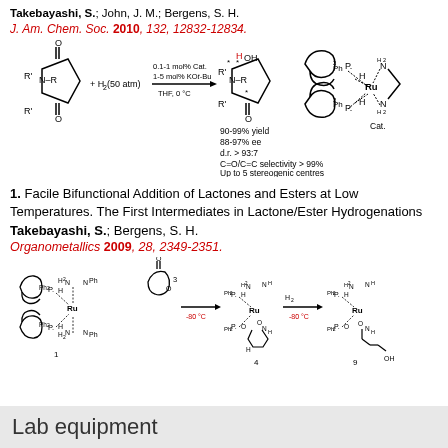Takebayashi, S.; John, J. M.; Bergens, S. H.
J. Am. Chem. Soc. 2010, 132, 12832-12834.
[Figure (illustration): Reaction scheme showing asymmetric hydrogenation of succinimide with H2 (50 atm), 0.1-1 mol% Cat., 1-5 mol% KOt-Bu, THF, 0°C, giving 90-99% yield, 88-97% ee, d.r. > 93:7, C=O/C=C selectivity > 99%, Up to 5 stereogenic centres. Catalyst structure shown as Ru complex with BINAP and diamine ligands.]
1. Facile Bifunctional Addition of Lactones and Esters at Low Temperatures. The First Intermediates in Lactone/Ester Hydrogenations
Takebayashi, S.; Bergens, S. H.
Organometallics 2009, 28, 2349-2351.
[Figure (illustration): Reaction scheme showing Ru-BINAP-diamine complex (1) reacting with lactone (3) at -80°C to give intermediate (4), then reacting with H2 at -80°C to give product (9) with OH group.]
Lab equipment